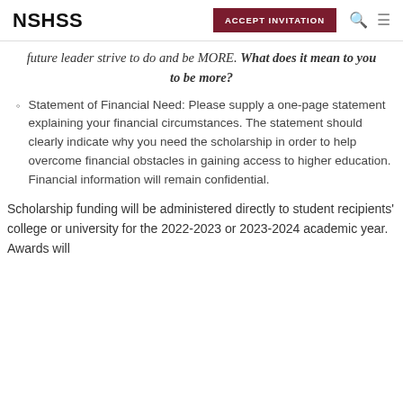NSHSS  ACCEPT INVITATION
future leader strive to do and be MORE. What does it mean to you to be more?
Statement of Financial Need: Please supply a one-page statement explaining your financial circumstances. The statement should clearly indicate why you need the scholarship in order to help overcome financial obstacles in gaining access to higher education. Financial information will remain confidential.
Scholarship funding will be administered directly to student recipients' college or university for the 2022-2023 or 2023-2024 academic year. Awards will